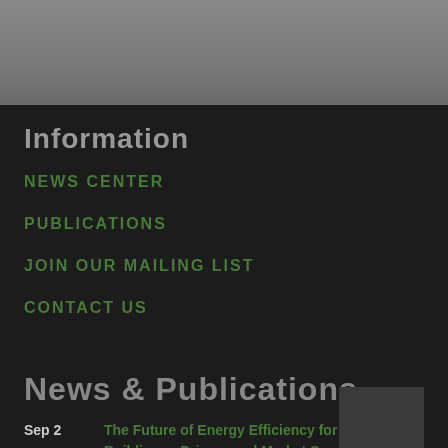[Figure (other): Gray gradient top navigation bar area]
Information
NEWS CENTER
PUBLICATIONS
JOIN OUR MAILING LIST
CONTACT US
News & Publications
Sep 2    The Future of Energy Efficiency for U.S. Buildings - Drivers and Market Scenarios